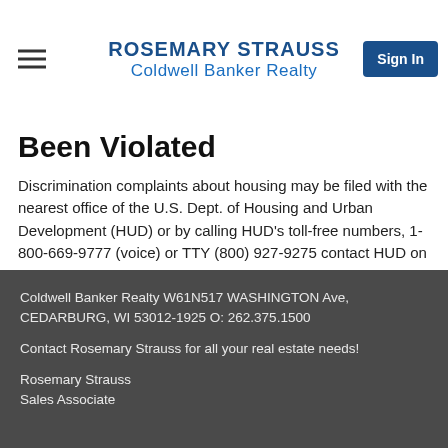ROSEMARY STRAUSS
Coldwell Banker Realty
Been Violated
Discrimination complaints about housing may be filed with the nearest office of the U.S. Dept. of Housing and Urban Development (HUD) or by calling HUD's toll-free numbers, 1-800-669-9777 (voice) or TTY (800) 927-9275 contact HUD on the Internet at https://www.hud.gov/program_offices/fair_housing_equal_op complaint
Coldwell Banker Realty W61N517 WASHINGTON Ave, CEDARBURG, WI 53012-1925 O: 262.375.1500

Contact Rosemary Strauss for all your real estate needs!

Rosemary Strauss
Sales Associate